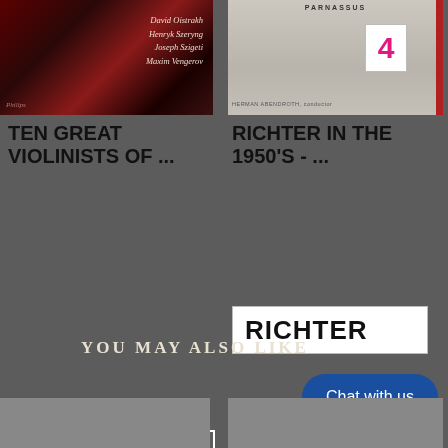[Figure (photo): Album cover for Ten Great Violinists - dark red/black background with italic names: David Oistrakh, Henryk Szeryng, Joseph Szigeti, Maxim Vengerov. Philips label visible.]
[Figure (photo): Album cover for Richter in the 1950's - Parnassus label, gray tones, number 4 in pink on white box, Herman Abendroth conductor text, red stripe on right edge.]
TEN GREAT VIOLINISTS OF ...
RICHTER IN THE 1950'S - ...
RICHTER
$69.99 USD
$10.99 USD
$10.98 USD
$2.99 USD
ADD TO CART
ADD TO CART
YOU MAY ALSO LIKE
Chat with us
[Figure (photo): Bottom left thumbnail - gray product image]
[Figure (photo): Bottom right thumbnail - gray product image]